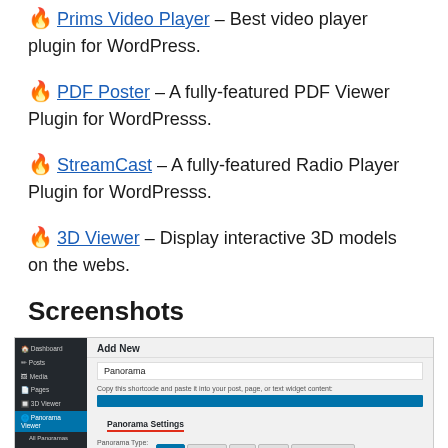🔥 Prims Video Player – Best video player plugin for WordPress.
🔥 PDF Poster – A fully-featured PDF Viewer Plugin for WordPresss.
🔥 StreamCast – A fully-featured Radio Player Plugin for WordPresss.
🔥 3D Viewer – Display interactive 3D models on the webs.
Screenshots
[Figure (screenshot): WordPress admin panel screenshot showing the Panorama Viewer plugin interface with 'Add New' screen, sidebar navigation, panorama settings, and panorama type buttons (Image, Image 360, Video, Gallery, Google Street View).]